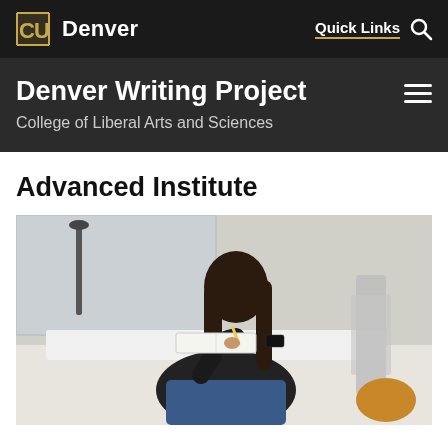CU Denver | Quick Links [search]
Denver Writing Project
College of Liberal Arts and Sciences
Advanced Institute
[Figure (photo): A young woman with long dark hair sits at a white desk writing in a notebook with a pencil. She is wearing a dark top and jeans. A phone and other items are on the desk. A mesh office chair is visible. The background shows a window with an outdoor scene.]